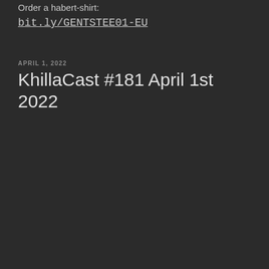Order a habert-shirt:
bit.ly/GENTSTEE01-EU
APRIL 1, 2022
KhillaCast #181 April 1st 2022